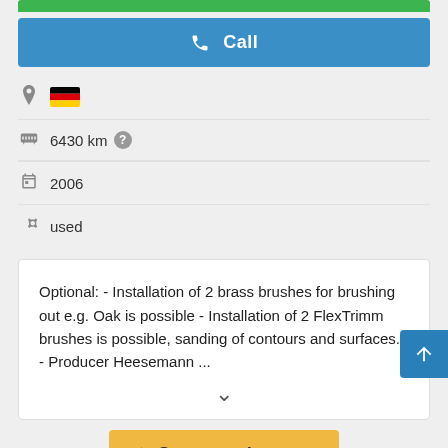[Figure (screenshot): Green button (partially visible at top)]
Call
🇩🇪 (Germany flag icon with location pin)
6430 km
2006
used
Optional: - Installation of 2 brass brushes for brushing out e.g. Oak is possible - Installation of 2 FlexTrimm brushes is possible, sanding of contours and surfaces. - Producer Heesemann ...
Save search query